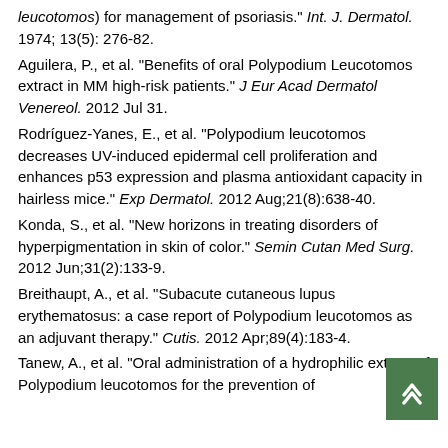leucotomos) for management of psoriasis." Int. J. Dermatol. 1974; 13(5): 276-82.
Aguilera, P., et al. "Benefits of oral Polypodium Leucotomos extract in MM high-risk patients." J Eur Acad Dermatol Venereol. 2012 Jul 31.
Rodríguez-Yanes, E., et al. "Polypodium leucotomos decreases UV-induced epidermal cell proliferation and enhances p53 expression and plasma antioxidant capacity in hairless mice." Exp Dermatol. 2012 Aug;21(8):638-40.
Konda, S., et al. "New horizons in treating disorders of hyperpigmentation in skin of color." Semin Cutan Med Surg. 2012 Jun;31(2):133-9.
Breithaupt, A., et al. "Subacute cutaneous lupus erythematosus: a case report of Polypodium leucotomos as an adjuvant therapy." Cutis. 2012 Apr;89(4):183-4.
Tanew, A., et al. "Oral administration of a hydrophilic extract of Polypodium leucotomos for the prevention of